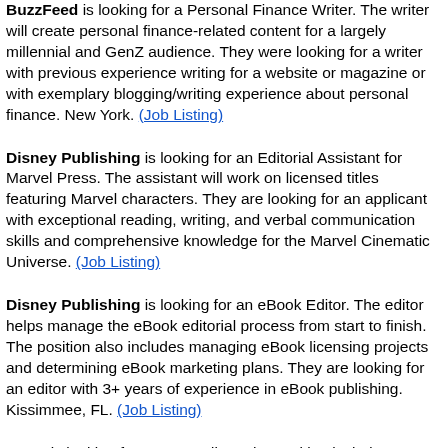BuzzFeed is looking for a Personal Finance Writer. The writer will create personal finance-related content for a largely millennial and GenZ audience. They were looking for a writer with previous experience writing for a website or magazine or with exemplary blogging/writing experience about personal finance. New York. (Job Listing)
Disney Publishing is looking for an Editorial Assistant for Marvel Press. The assistant will work on licensed titles featuring Marvel characters. They are looking for an applicant with exceptional reading, writing, and verbal communication skills and comprehensive knowledge for the Marvel Cinematic Universe. (Job Listing)
Disney Publishing is looking for an eBook Editor. The editor helps manage the eBook editorial process from start to finish. The position also includes managing eBook licensing projects and determining eBook marketing plans. They are looking for an editor with 3+ years of experience in eBook publishing. Kissimmee, FL. (Job Listing)
Goop is looking for a Copy Editor. The position includes